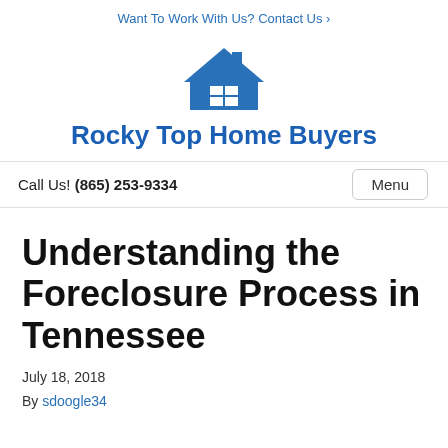Want To Work With Us? Contact Us ›
[Figure (logo): House icon logo with roof and chimney in blue]
Rocky Top Home Buyers
Call Us! (865) 253-9334
Understanding the Foreclosure Process in Tennessee
July 18, 2018
By sdoogle34